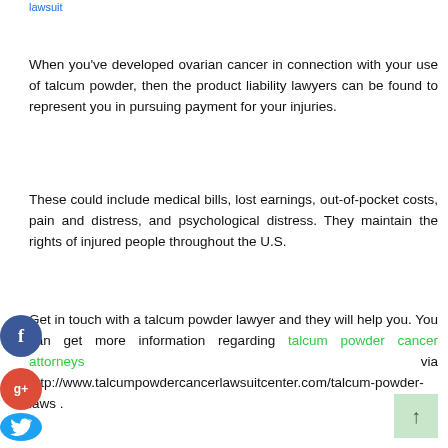lawsuit
When you've developed ovarian cancer in connection with your use of talcum powder, then the product liability lawyers can be found to represent you in pursuing payment for your injuries.
These could include medical bills, lost earnings, out-of-pocket costs, pain and distress, and psychological distress. They maintain the rights of injured people throughout the U.S.
Get in touch with a talcum powder lawyer and they will help you. You can get more information regarding talcum powder cancer attorneys via http://www.talcumpowdercancerlawsuitcenter.com/talcum-powder-laws .